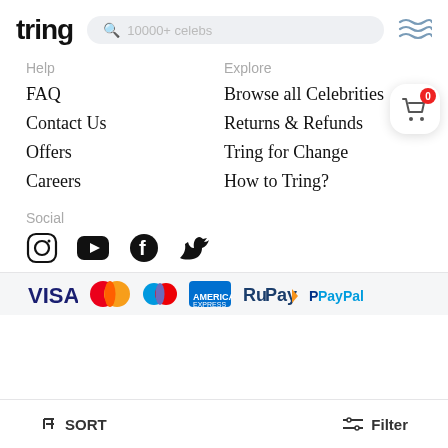tring — 10000+ celebs
Help
FAQ
Contact Us
Offers
Careers
Explore
Browse all Celebrities
Returns & Refunds
Tring for Change
How to Tring?
Social
[Figure (infographic): Social media icons: Instagram, YouTube, Facebook, Twitter]
[Figure (infographic): Payment method logos: VISA, Mastercard, Maestro, American Express, RuPay, PayPal]
SORT   Filter